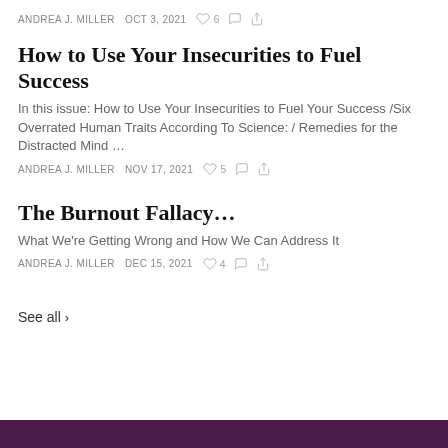ANDREA J. MILLER   OCT 3, 2021   ♡ 6
How to Use Your Insecurities to Fuel Success
In this issue: How to Use Your Insecurities to Fuel Your Success /Six Overrated Human Traits According To Science: / Remedies for the Distracted Mind …
ANDREA J. MILLER   NOV 17, 2021   ♡ 5
The Burnout Fallacy…
What We're Getting Wrong and How We Can Address It
ANDREA J. MILLER   DEC 15, 2021   ♡ 4
See all >